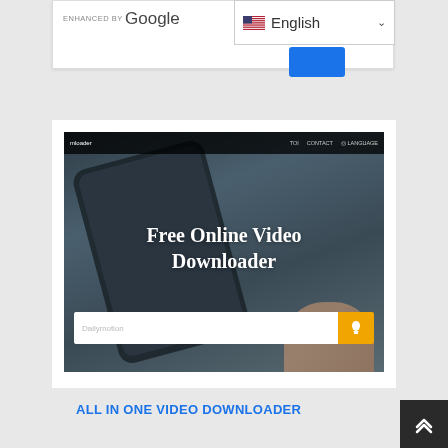[Figure (screenshot): Google enhanced search bar with English language dropdown and blue button]
[Figure (screenshot): Screenshot of Free Online Video Downloader website showing a smartphone with the site's hero section, headline 'Free Online Video Downloader', and a Dailymotion search input with orange download button]
ALL IN ONE VIDEO DOWNLOADER